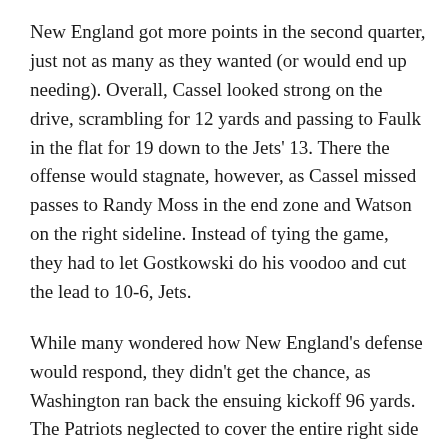New England got more points in the second quarter, just not as many as they wanted (or would end up needing). Overall, Cassel looked strong on the drive, scrambling for 12 yards and passing to Faulk in the flat for 19 down to the Jets' 13. There the offense would stagnate, however, as Cassel missed passes to Randy Moss in the end zone and Watson on the right sideline. Instead of tying the game, they had to let Gostkowski do his voodoo and cut the lead to 10-6, Jets.
While many wondered how New England's defense would respond, they didn't get the chance, as Washington ran back the ensuing kickoff 96 yards. The Patriots neglected to cover the entire right side of the field (rookie Jonathan Wilhite seemed out of position,